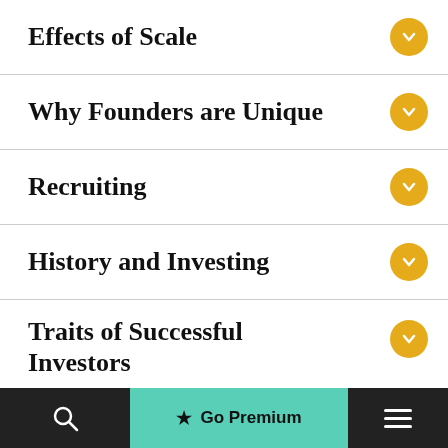Effects of Scale
Why Founders are Unique
Recruiting
History and Investing
Traits of Successful Investors
Go Premium